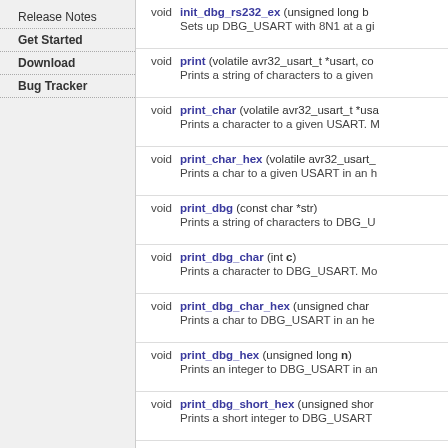Release Notes
Get Started
Download
Bug Tracker
| Return | Function | Description |
| --- | --- | --- |
| void | init_dbg_rs232_ex (unsigned long b... | Sets up DBG_USART with 8N1 at a gi... |
| void | print (volatile avr32_usart_t *usart, co... | Prints a string of characters to a given... |
| void | print_char (volatile avr32_usart_t *usa... | Prints a character to a given USART. M... |
| void | print_char_hex (volatile avr32_usart_... | Prints a char to a given USART in an h... |
| void | print_dbg (const char *str) | Prints a string of characters to DBG_U... |
| void | print_dbg_char (int c) | Prints a character to DBG_USART. Mo... |
| void | print_dbg_char_hex (unsigned char ... | Prints a char to DBG_USART in an he... |
| void | print_dbg_hex (unsigned long n) | Prints an integer to DBG_USART in an... |
| void | print_dbg_short_hex (unsigned shor... | Prints a short integer to DBG_USART... |
| void | print_dbg_ulong (unsigned long n) | Prints an integer to DBG_USART in a... |
| void | print_hex (volatile avr32_usart_t *usa... | Prints an integer to a given USART in... |
| void | print_short_hex (volatile avr32_usart... | Prints a short integer to a given USAR... |
| void | print_ulong (volatile avr32_usart_... | ... |